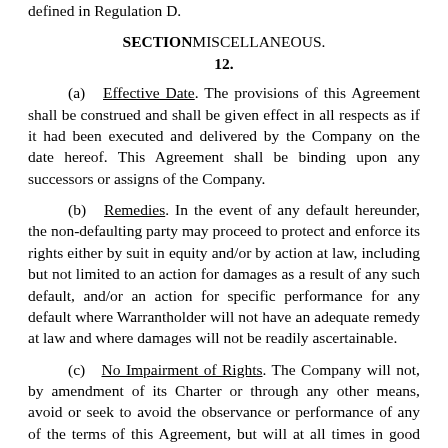defined in Regulation D.
SECTION MISCELLANEOUS.
12.
(a) Effective Date. The provisions of this Agreement shall be construed and shall be given effect in all respects as if it had been executed and delivered by the Company on the date hereof. This Agreement shall be binding upon any successors or assigns of the Company.
(b) Remedies. In the event of any default hereunder, the non-defaulting party may proceed to protect and enforce its rights either by suit in equity and/or by action at law, including but not limited to an action for damages as a result of any such default, and/or an action for specific performance for any default where Warrantholder will not have an adequate remedy at law and where damages will not be readily ascertainable.
(c) No Impairment of Rights. The Company will not, by amendment of its Charter or through any other means, avoid or seek to avoid the observance or performance of any of the terms of this Agreement, but will at all times in good faith assist in the carrying out of all such terms and in the taking of all such actions as may be necessary or appropriate in order to protect the rights of the Warrantholder against impairment. Notwithstanding the foregoing, nothing in this Section 12(c) shall negate or otherwise restrict or impair the Company's right to effect